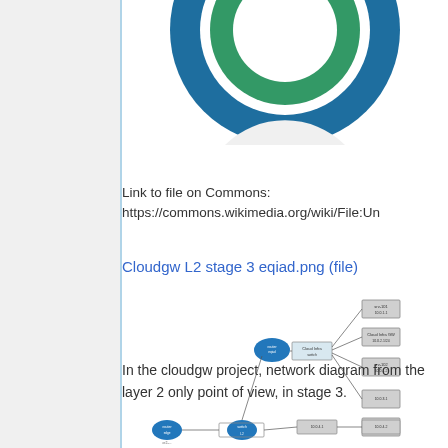[Figure (logo): Wikimedia Commons logo — circular blue and green emblem, partially cropped at top]
Link to file on Commons:
https://commons.wikimedia.org/wiki/File:Un
Cloudgw L2 stage 3 eqiad.png (file)
[Figure (network-graph): Network diagram for cloudgw project showing layer 2 topology in stage 3, with routers, switches, and server nodes connected by lines]
In the cloudgw project, network diagram from the layer 2 only point of view, in stage 3.